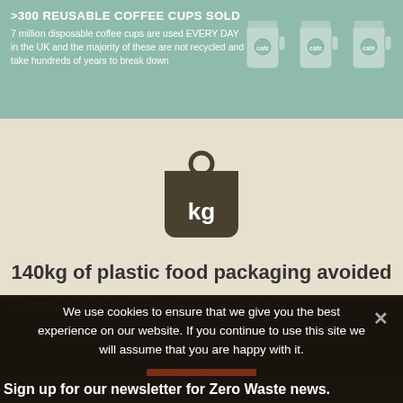[Figure (infographic): Green banner: '>300 REUSABLE COFFEE CUPS SOLD' with text about 7 million disposable coffee cups used every day in the UK, and three illustrated coffee cups on the right]
[Figure (infographic): Beige banner with dark weight/kg icon and text '140kg of plastic food packaging avoided']
>1,200 reusable straws sold
>1,200 bamboo toothbrushes sold
>300 reusable water bottles sold
>50 reusable sanitary pads and >30 menstrual cups sold
>1,000 plastic bottles of washing up liquid avoided
>500 plastic bottles of shampoo avoided
We use cookies to ensure that we give you the best experience on our website. If you continue to use this site we will assume that you are happy with it.
Sign up for our newsletter for Zero Waste news.